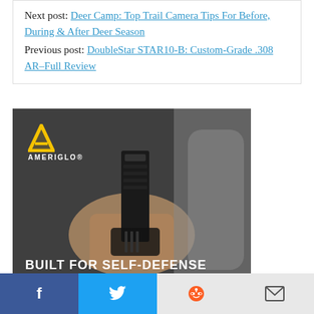Next post: Deer Camp: Top Trail Camera Tips For Before, During & After Deer Season
Previous post: DoubleStar STAR10-B: Custom-Grade .308 AR–Full Review
[Figure (photo): Ameriglo advertisement showing a hand drawing a pistol from a holster, with yellow Ameriglo logo and text 'BUILT FOR SELF-DEFENSE']
Facebook | Twitter | Reddit | Email social share bar